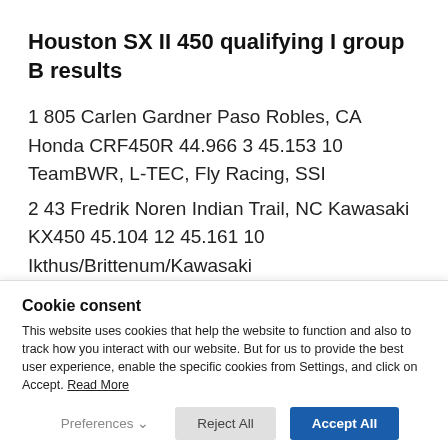Houston SX II 450 qualifying I group B results
1 805 Carlen Gardner Paso Robles, CA Honda CRF450R 44.966 3 45.153 10 TeamBWR, L-TEC, Fly Racing, SSI
2 43 Fredrik Noren Indian Trail, NC Kawasaki KX450 45.104 12 45.161 10 Ikthus/Brittenum/Kawasaki
Cookie consent
This website uses cookies that help the website to function and also to track how you interact with our website. But for us to provide the best user experience, enable the specific cookies from Settings, and click on Accept. Read More